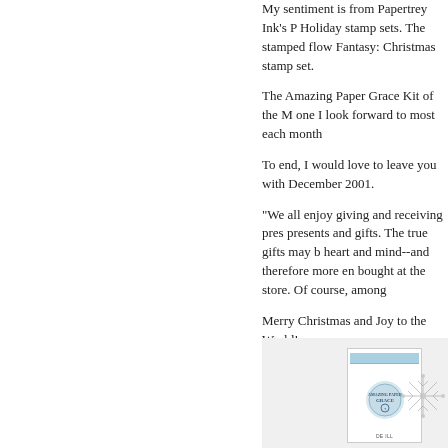My sentiment is from Papertrey Ink's P Holiday stamp sets.  The stamped flow Fantasy:  Christmas stamp set.
The Amazing Paper Grace Kit of the M one I look forward to most each month
To end, I would love to leave you with December 2001.
"We all enjoy giving and receiving pres presents and gifts.  The true gifts may b heart and mind--and therefore more en bought at the store.  Of course, among
Merry Christmas and Joy to the World!
Melis
[Figure (illustration): A greeting card with a light blue header bar, circular logo with 'Amazing Paper Grace' text, and small text below. Partially visible snowflake decoration to the right.]